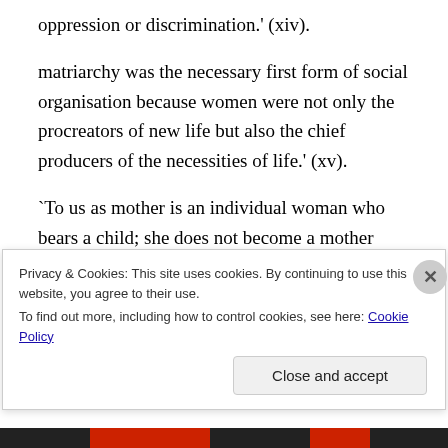oppression or discrimination.' (xiv).
matriarchy was the necessary first form of social organisation because women were not only the procreators of new life but also the chief producers of the necessities of life.' (xv).
`To us as mother is an individual woman who bears a child; she does not become a mother until and unless she gives birth. But in primitive society motherhood was a social function of the female sex; thus all women were actually or potentially "the mothers' of the community".
Privacy & Cookies: This site uses cookies. By continuing to use this website, you agree to their use.
To find out more, including how to control cookies, see here: Cookie Policy